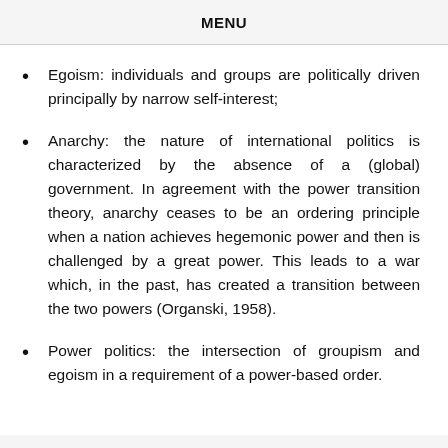MENU
Egoism: individuals and groups are politically driven principally by narrow self-interest;
Anarchy: the nature of international politics is characterized by the absence of a (global) government. In agreement with the power transition theory, anarchy ceases to be an ordering principle when a nation achieves hegemonic power and then is challenged by a great power. This leads to a war which, in the past, has created a transition between the two powers (Organski, 1958).
Power politics: the intersection of groupism and egoism in a requirement of a power-based order.